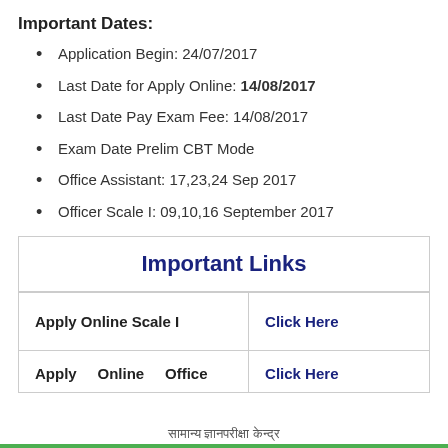Important Dates:
Application Begin: 24/07/2017
Last Date for Apply Online: 14/08/2017
Last Date Pay Exam Fee: 14/08/2017
Exam Date Prelim CBT Mode
Office Assistant: 17,23,24 Sep 2017
Officer Scale I: 09,10,16 September 2017
|  | Important Links |  |
| --- | --- | --- |
| Apply Online Scale I | Click Here |
| Apply Online Office | Click Here |
सामान्य ज्ञान परीक्षा